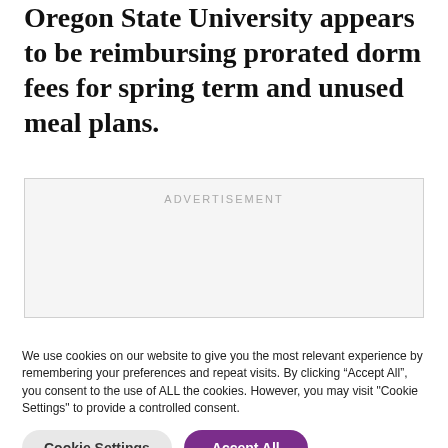Oregon State University appears to be reimbursing prorated dorm fees for spring term and unused meal plans.
[Figure (other): Advertisement placeholder box with label ADVERTISEMENT]
We use cookies on our website to give you the most relevant experience by remembering your preferences and repeat visits. By clicking “Accept All”, you consent to the use of ALL the cookies. However, you may visit "Cookie Settings" to provide a controlled consent.
Cookie Settings   Accept All